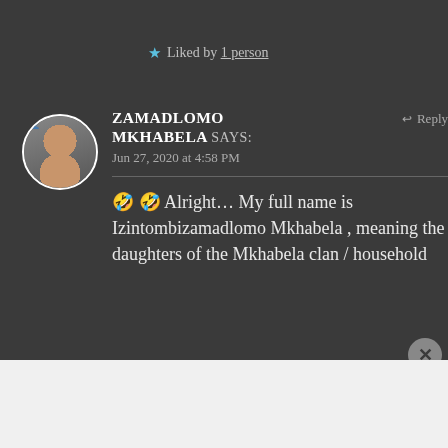★ Liked by 1 person
ZAMADLOMO MKHABELA says: Jun 27, 2020 at 4:58 PM
↩ Reply
🤣 🤣 Alright... My full name is Izintombizamadlomo Mkhabela , meaning the daughters of the Mkhabela clan / household
Advertisements
[Figure (screenshot): WordPress advertisement banner reading 'Create immersive stories.' with 'GET THE APP' button and WordPress logo]